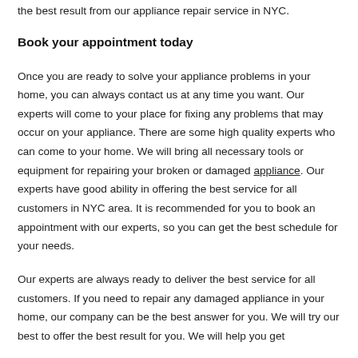the best result from our appliance repair service in NYC.
Book your appointment today
Once you are ready to solve your appliance problems in your home, you can always contact us at any time you want. Our experts will come to your place for fixing any problems that may occur on your appliance. There are some high quality experts who can come to your home. We will bring all necessary tools or equipment for repairing your broken or damaged appliance. Our experts have good ability in offering the best service for all customers in NYC area. It is recommended for you to book an appointment with our experts, so you can get the best schedule for your needs.
Our experts are always ready to deliver the best service for all customers. If you need to repair any damaged appliance in your home, our company can be the best answer for you. We will try our best to offer the best result for you. We will help you get